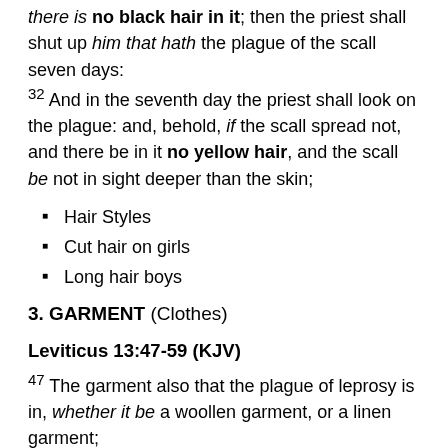there is no black hair in it; then the priest shall shut up him that hath the plague of the scall seven days: 32 And in the seventh day the priest shall look on the plague: and, behold, if the scall spread not, and there be in it no yellow hair, and the scall be not in sight deeper than the skin;
Hair Styles
Cut hair on girls
Long hair boys
3. GARMENT (Clothes)
Leviticus 13:47-59 (KJV)
47 The garment also that the plague of leprosy is in, whether it be a woollen garment, or a linen garment; 48 Whether it be in the warp, or woof; of linen, or of